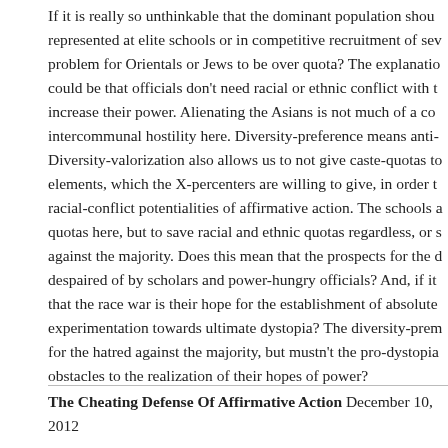If it is really so unthinkable that the dominant population should be represented at elite schools or in competitive recruitment of several problem for Orientals or Jews to be over quota? The explanation could be that officials don't need racial or ethnic conflict with the increase their power. Alienating the Asians is not much of a concern intercommunal hostility here. Diversity-preference means anti- Diversity-valorization also allows us to not give caste-quotas to elements, which the X-percenters are willing to give, in order to racial-conflict potentialities of affirmative action. The schools are quotas here, but to save racial and ethnic quotas regardless, or against the majority. Does this mean that the prospects for the despaired of by scholars and power-hungry officials? And, if it that the race war is their hope for the establishment of absolute experimentation towards ultimate dystopia? The diversity-prem for the hatred against the majority, but mustn't the pro-dystopia obstacles to the realization of their hopes of power?
The Cheating Defense Of Affirmative Action  December 10, 2012